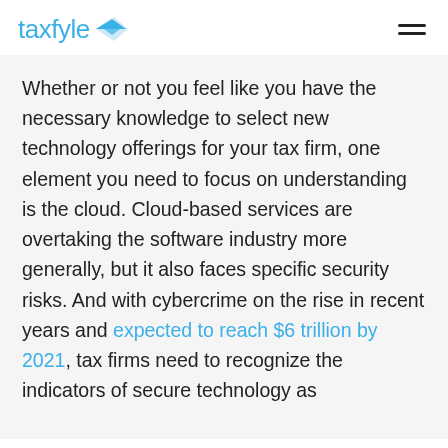[Figure (logo): Taxfyle logo with blue text and blue paper airplane icon]
Whether or not you feel like you have the necessary knowledge to select new technology offerings for your tax firm, one element you need to focus on understanding is the cloud. Cloud-based services are overtaking the software industry more generally, but it also faces specific security risks. And with cybercrime on the rise in recent years and expected to reach $6 trillion by 2021, tax firms need to recognize the indicators of secure technology as